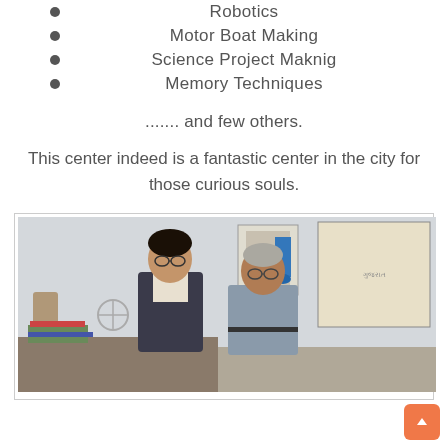Robotics
Motor Boat Making
Science Project Maknig
Memory Techniques
....... and few others.
This center indeed is a fantastic center in the city for those curious souls.
[Figure (photo): Two men standing side by side in an office or room. A younger man with glasses on the left wearing a dark jacket over a light shirt, and an older man on the right wearing a grey shirt with glasses. Behind them is a map of Gujarat on the wall, a framed poster, and various items including a fan and stacked books/files on a desk.]